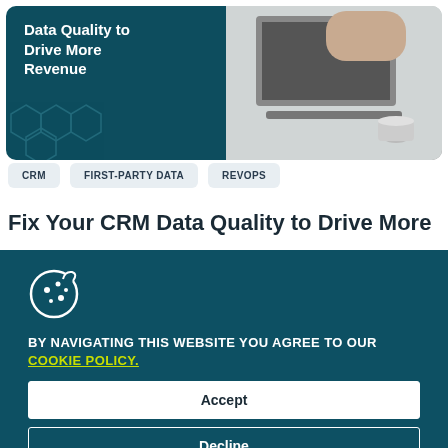[Figure (photo): Website screenshot showing a blog post header image with dark teal left panel reading 'Data Quality to Drive More Revenue' and a photo of a laptop/desk on the right]
CRM
FIRST-PARTY DATA
REVOPS
Fix Your CRM Data Quality to Drive More
BY NAVIGATING THIS WEBSITE YOU AGREE TO OUR COOKIE POLICY.
Accept
Decline